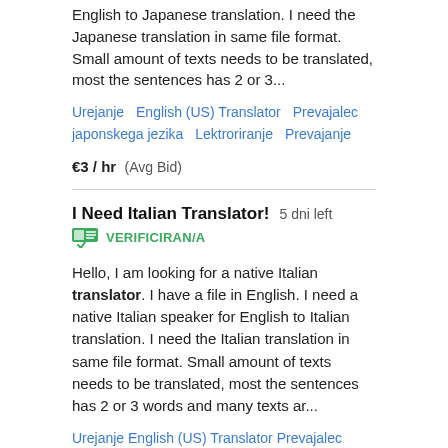English to Japanese translation. I need the Japanese translation in same file format. Small amount of texts needs to be translated, most the sentences has 2 or 3...
Urejanje   English (US) Translator   Prevajalec japonskega jezika   Lektroriranje   Prevajanje
€3 / hr  (Avg Bid)
I Need Italian Translator!  5 dni left
VERIFICIRAN/A
Hello, I am looking for a native Italian translator. I have a file in English. I need a native Italian speaker for English to Italian translation. I need the Italian translation in same file format. Small amount of texts needs to be translated, most the sentences has 2 or 3 words and many texts ar...
Urejanje   English (US) Translator   Prevajalec italijanskega jezika   Lektroriranje   Prevajanje
€4 / hr  (Avg Bid)